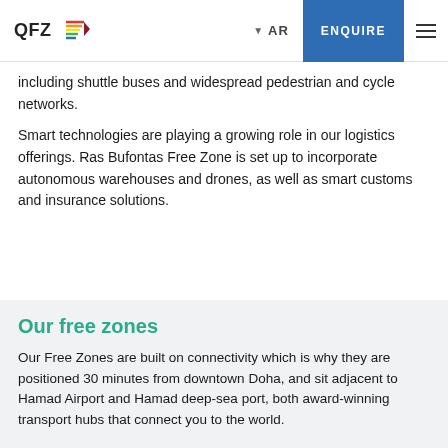QFZ | AR | ENQUIRE
including shuttle buses and widespread pedestrian and cycle networks.
Smart technologies are playing a growing role in our logistics offerings. Ras Bufontas Free Zone is set up to incorporate autonomous warehouses and drones, as well as smart customs and insurance solutions.
Our free zones
Our Free Zones are built on connectivity which is why they are positioned 30 minutes from downtown Doha, and sit adjacent to Hamad Airport and Hamad deep-sea port, both award-winning transport hubs that connect you to the world.